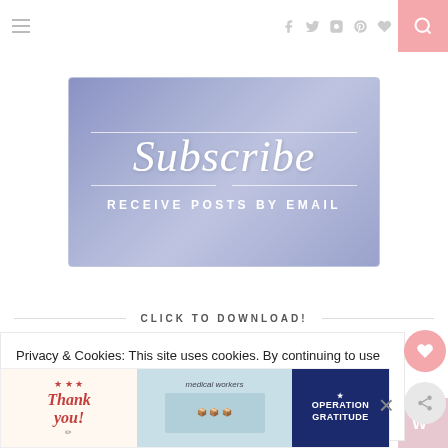Navigation and social icons header with search button
[Figure (illustration): Subscribe banner with script text 'Subscribe' and subtitle 'RECEIVE POSTS BY EMAIL' on a blue-purple gradient background]
CLICK TO DOWNLOAD!
[Figure (illustration): Free download banner with text 'FREE' on a grey-blue gradient background]
Privacy & Cookies: This site uses cookies. By continuing to use this website, you agree to their use.
To find out more, including how to control cookies, see here: Privacy Policy
[Figure (photo): Advertisement banner: thank you with Operation Gratitude military charity ad showing nurses/medical workers]